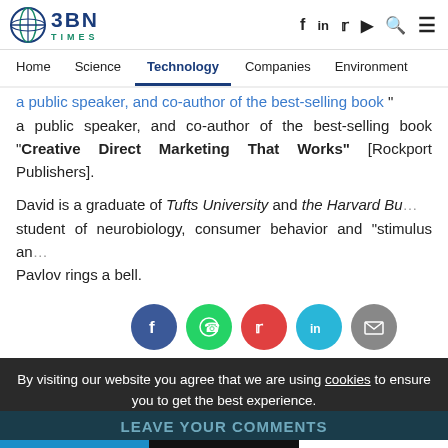BBN TIMES — Home | Science | Technology | Companies | Environment
a public speaker, and co-author of the best-selling book "Creative Direct Marketing That Works" [Rockport Publishers].
David is a graduate of Tufts University and the Harvard Bu... student of neurobiology, consumer behavior and "stimulus an... Pavlov rings a bell.
[Figure (infographic): Social share icons: Facebook (blue), WhatsApp (green), Twitter (red), LinkedIn (cyan), Email (grey)]
By visiting our website you agree that we are using cookies to ensure you to get the best experience.
LEAVE YOUR COMMENTS
Accept all | Decline all | Customize